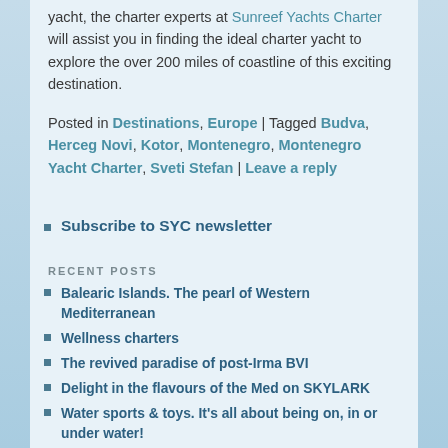yacht, the charter experts at Sunreef Yachts Charter will assist you in finding the ideal charter yacht to explore the over 200 miles of coastline of this exciting destination.
Posted in Destinations, Europe | Tagged Budva, Herceg Novi, Kotor, Montenegro, Montenegro Yacht Charter, Sveti Stefan | Leave a reply
Subscribe to SYC newsletter
RECENT POSTS
Balearic Islands. The pearl of Western Mediterranean
Wellness charters
The revived paradise of post-Irma BVI
Delight in the flavours of the Med on SKYLARK
Water sports & toys. It's all about being on, in or under water!
Dream family vacation – Sunreef style!
Discover the intriguing beauty of Cuba onboard a luxury catamaran